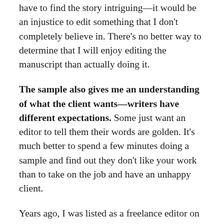have to find the story intriguing—it would be an injustice to edit something that I don't completely believe in. There's no better way to determine that I will enjoy editing the manuscript than actually doing it.
The sample also gives me an understanding of what the client wants—writers have different expectations. Some just want an editor to tell them their words are golden. It's much better to spend a few minutes doing a sample and find out they don't like your work than to take on the job and have an unhappy client.
Years ago, I was listed as a freelance editor on the website of the one of the “self-publishing” companies. Since then the companies all started offering in-house editing, but in the beginning, this company provided a list of approved editors rather than offering the service in-house. I never did any work for authors publishing